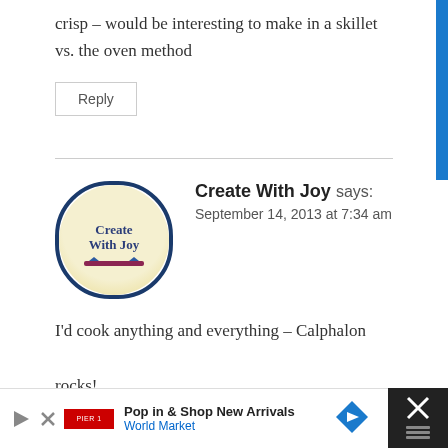…would make your skillet caramel apple crisp – would be interesting to make in a skillet vs. the oven method
Reply
Create With Joy says: September 14, 2013 at 7:34 am
I'd cook anything and everything – Calphalon rocks!
Reply